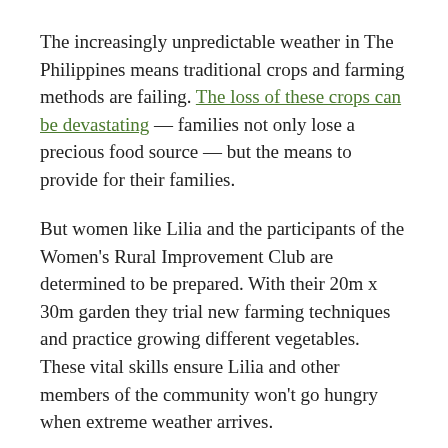The increasingly unpredictable weather in The Philippines means traditional crops and farming methods are failing. The loss of these crops can be devastating — families not only lose a precious food source — but the means to provide for their families.
But women like Lilia and the participants of the Women's Rural Improvement Club are determined to be prepared. With their 20m x 30m garden they trial new farming techniques and practice growing different vegetables. These vital skills ensure Lilia and other members of the community won't go hungry when extreme weather arrives.
After the club mastered growing vegetables such as eggplant, spinach, cucumber, tomato, onion and garlic at home, they began to sell their produce for income in the marketplace. The money they earn now is used for food, but also for buying new plants to trial in the garden.
In addition to generating both food and a livelihood, the garden